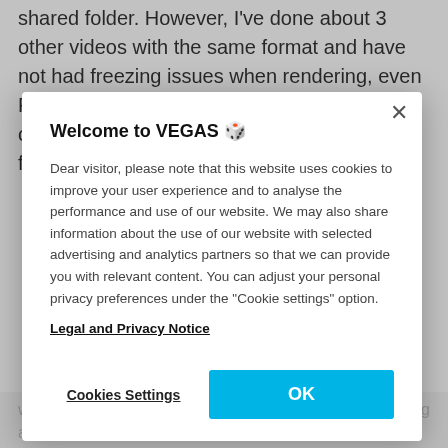shared folder. However, I've done about 3 other videos with the same format and have not had freezing issues when rendering, even File I/O set to my GPU and legacy HEVC checked. So... I'm mostly good and have my fingers
Welcome to VEGAS 🎲
Dear visitor, please note that this website uses cookies to improve your user experience and to analyse the performance and use of our website. We may also share information about the use of our website with selected advertising and analytics partners so that we can provide you with relevant content. You can adjust your personal privacy preferences under the "Cookie settings" option.
Legal and Privacy Notice
Cookies Settings
OK
with legacy hevc, compared to unchecking it and selecting a decoder gpu or igpu. But legacy hevc yields